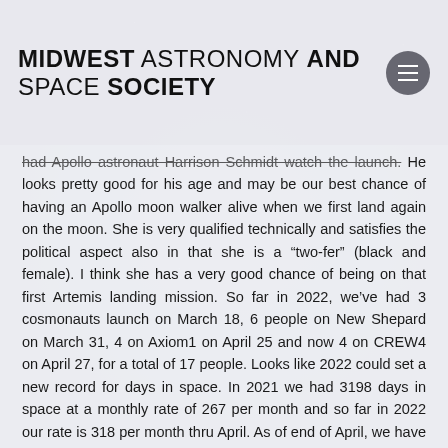MIDWEST ASTRONOMY AND SPACE SOCIETY
had Apollo astronaut Harrison Schmidt watch the launch. He looks pretty good for his age and may be our best chance of having an Apollo moon walker alive when we first land again on the moon. She is very qualified technically and satisfies the political aspect also in that she is a “two-fer” (black and female). I think she has a very good chance of being on that first Artemis landing mission. So far in 2022, we’ve had 3 cosmonauts launch on March 18, 6 people on New Shepard on March 31, 4 on Axiom1 on April 25 and now 4 on CREW4 on April 27, for a total of 17 people. Looks like 2022 could set a new record for days in space. In 2021 we had 3198 days in space at a monthly rate of 267 per month and so far in 2022 our rate is 318 per month thru April. As of end of April, we have accumulated 167+ years of time in space with 82+ years by the Russians, 65 years by the US and 20 by other countries.
Lastly in SpaceX news, the company is soon to launch Psyche launch in August 2022. This will probably be the first